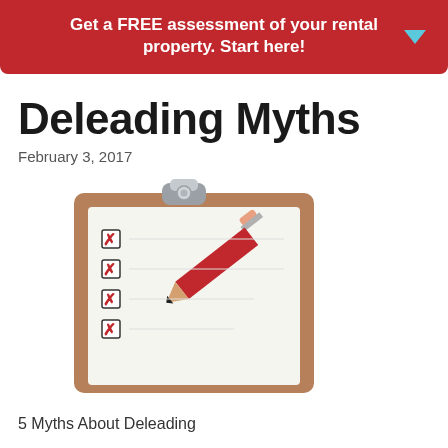Get a FREE assessment of your rental property. Start here!
Deleading Myths
February 3, 2017
[Figure (illustration): Clipboard with checklist showing red checkmarks and a red pencil resting diagonally across it]
5 Myths About Deleading